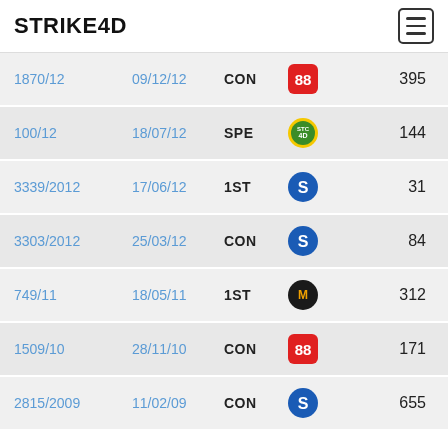STRIKE4D
| ID | Date | Type | Logo | Number |
| --- | --- | --- | --- | --- |
| 1870/12 | 09/12/12 | CON | 88-logo | 395 |
| 100/12 | 18/07/12 | SPE | STC4D-logo | 144 |
| 3339/2012 | 17/06/12 | 1ST | FS-logo | 31 |
| 3303/2012 | 25/03/12 | CON | FS-logo | 84 |
| 749/11 | 18/05/11 | 1ST | M-logo | 312 |
| 1509/10 | 28/11/10 | CON | 88-logo | 171 |
| 2815/2009 | 11/02/09 | CON | FS-logo | 655 |